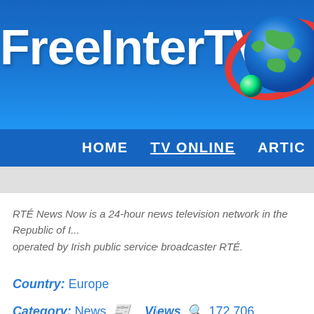FreeInterTV.CO
HOME   TV ONLINE   ARTIC
RTÉ News Now is a 24-hour news television network in the Republic of I... operated by Irish public service broadcaster RTÉ.
Country: Europe
Category: News 📰  Views 👁 172,706